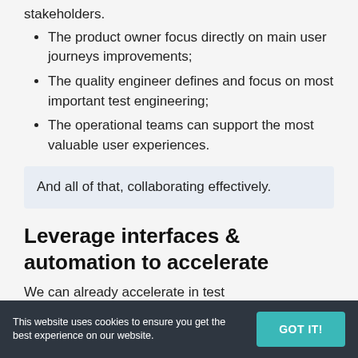stakeholders.
The product owner focus directly on main user journeys improvements;
The quality engineer defines and focus on most important test engineering;
The operational teams can support the most valuable user experiences.
And all of that, collaborating effectively.
Leverage interfaces & automation to accelerate
We can already accelerate in test
This website uses cookies to ensure you get the best experience on our website.